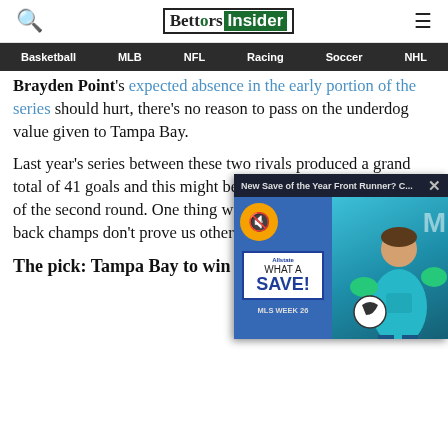BettorsInsider — search and menu icons
Basketball | MLB | NFL | Racing | Soccer | NHL
Brayden Point's expected absence in the early portion of the series should hurt, there's no reason to pass on the underdog value given to Tampa Bay.
Last year's series between these two rivals produced a grand total of 41 goals and this might be the most entertaining series of the second round. One thing we know is that the back-to-back champs don't prove us otherwise.
The pick: Tampa Bay to win the series (+130)
[Figure (screenshot): Advertisement overlay: 'New Save of the Year Front Runner? C...' with Allstate WHAT A SAVE! MLS WEEK 26 card and goalkeeper image on teal background]